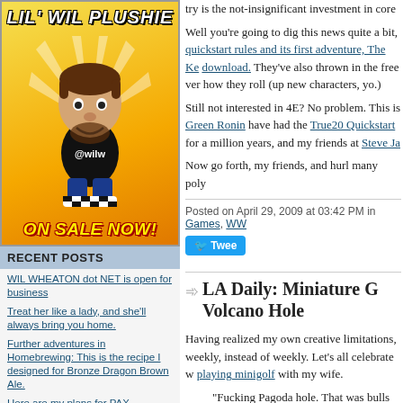[Figure (illustration): Lil' Wil Plushie advertisement image showing a cartoon plush doll with @wilw shirt, on a yellow starburst background. Text: LIL' WIL PLUSHIE, ON SALE NOW!]
RECENT POSTS
WIL WHEATON dot NET is open for business
Treat her like a lady, and she'll always bring you home.
Further adventures in Homebrewing: This is the recipe I designed for Bronze Dragon Brown Ale.
Here are my plans for PAX
on a long run, on a long run
New #Tabletop: Elder Sign (or, in
try is the not-insignificant investment in core
Well you're going to dig this news quite a bit, quickstart rules and its first adventure, The Ke download. They've also thrown in the free ver how they roll (up new characters, yo.)
Still not interested in 4E? No problem. This is Green Ronin have had the True20 Quickstart for a million years, and my friends at Steve Ja
Now go forth, my friends, and hurl many poly
Posted on April 29, 2009 at 03:42 PM in Games, WW
LA Daily: Miniature G Volcano Hole
Having realized my own creative limitations, weekly, instead of weekly. Let's all celebrate w playing minigolf with my wife.
"Fucking Pagoda hole. That was bulls equalizer!" I declared.